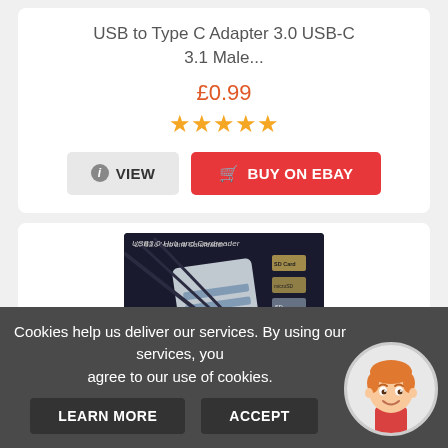USB to Type C Adapter 3.0 USB-C 3.1 Male...
£0.99
★★★★★
VIEW
BUY ON EBAY
[Figure (photo): USB3.0 Hub and Cardreader product image showing a silver USB hub device on dark background]
Cookies help us deliver our services. By using our services, you agree to our use of cookies.
LEARN MORE
ACCEPT
[Figure (illustration): Cartoon avatar of a smiling boy with red/orange hair wearing a red shirt]